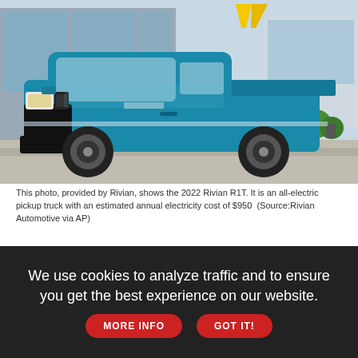[Figure (photo): A teal/blue 2022 Rivian R1T electric pickup truck parked in front of a modern building with a yellow V-shaped logo. Trees and greenery visible in the background.]
This photo, provided by Rivian, shows the 2022 Rivian R1T. It is an all-electric pickup truck with an estimated annual electricity cost of $950  (Source:Rivian Automotive via AP)
Electrified vehicles are indiscriminate in their automotive expansion. First, it was hatchbacks and sedans, then SUVs. Next up: The pickup. Electric variants of light-duty pickups are being developed by a
We use cookies to analyze traffic and to ensure you get the best experience on our website.  MORE INFO  GOT IT!